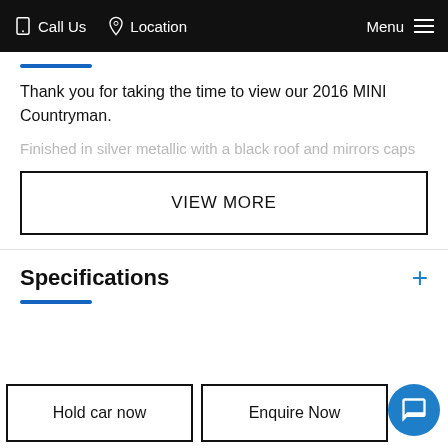Call Us  Location  Menu
Thank you for taking the time to view our 2016 MINI Countryman.
Finished in silver metallic with a black roof and mirrors caps
VIEW MORE
Specifications
Hold car now
Enquire Now